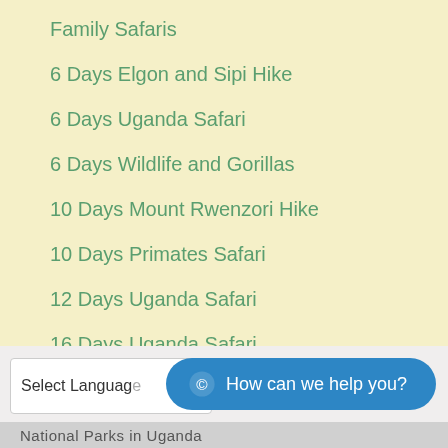Family Safaris
6 Days Elgon and Sipi Hike
6 Days Uganda Safari
6 Days Wildlife and Gorillas
10 Days Mount Rwenzori Hike
10 Days Primates Safari
12 Days Uganda Safari
16 Days Uganda Safari
21 Days East Africa Safari
Select Language
How can we help you?